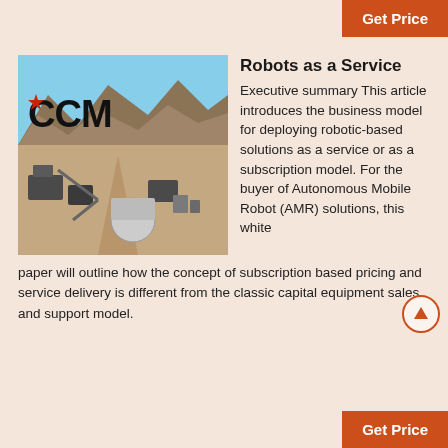Get Price
[Figure (photo): Aerial view of a mining or quarry industrial site with mountains in the background, labeled CCM with a red star logo]
Robots as a Service
Executive summary This article introduces the business model for deploying robotic-based solutions as a service or as a subscription model. For the buyer of Autonomous Mobile Robot (AMR) solutions, this white paper will outline how the concept of subscription based pricing and service delivery is different from the classic capital equipment sales and support model.
Get Price